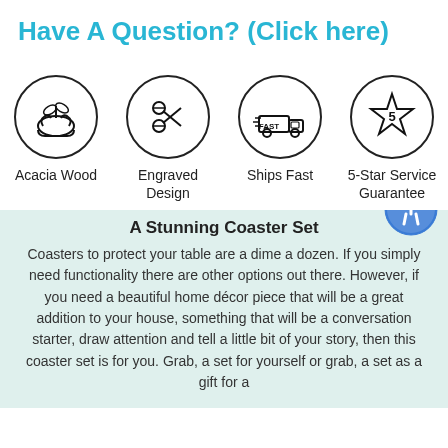Have A Question? (Click here)
[Figure (infographic): Four circular icons in a row: Acacia Wood (hands holding plant), Engraved Design (scissors/craft tool), Ships Fast (delivery truck with FAST label), 5-Star Service Guarantee (star with number 5)]
Acacia Wood
Engraved Design
Ships Fast
5-Star Service Guarantee
[Figure (illustration): Blue circular accessibility icon (person in circle)]
A Stunning Coaster Set
Coasters to protect your table are a dime a dozen. If you simply need functionality there are other options out there. However, if you need a beautiful home décor piece that will be a great addition to your house, something that will be a conversation starter, draw attention and tell a little bit of your story, then this coaster set is for you. Grab, a set for yourself or grab, a set as a gift for a